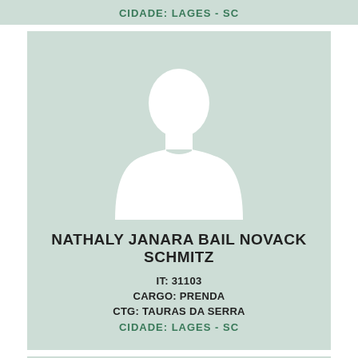CIDADE: LAGES - SC
[Figure (illustration): Silhouette placeholder photo of a person (head and shoulders), white on light green background]
NATHALY JANARA BAIL NOVACK SCHMITZ
IT: 31103
CARGO: PRENDA
CTG: TAURAS DA SERRA
CIDADE: LAGES - SC
[Figure (illustration): Partial silhouette placeholder photo of a person (head), white on light green background, cropped at bottom]